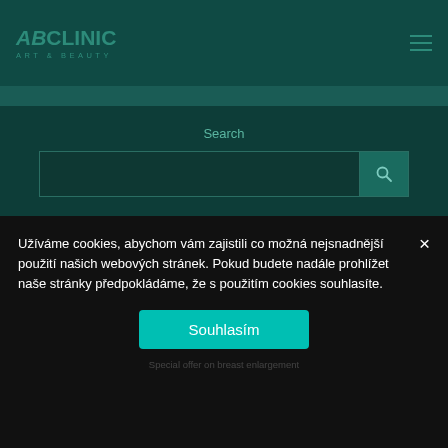[Figure (logo): ABClinic Art & Beauty logo in teal/dark green color, top left of header]
[Figure (screenshot): Website screenshot showing ABClinic search page with search bar, sub-header strip, and partial article image with ABClinic logo watermark and 'Special offer on breast enlargement' text]
Užíváme cookies, abychom vám zajistili co možná nejsnadnější použití našich webových stránek. Pokud budete nadále prohlížet naše stránky předpokládáme, že s použitím cookies souhlasíte.
Souhlasím